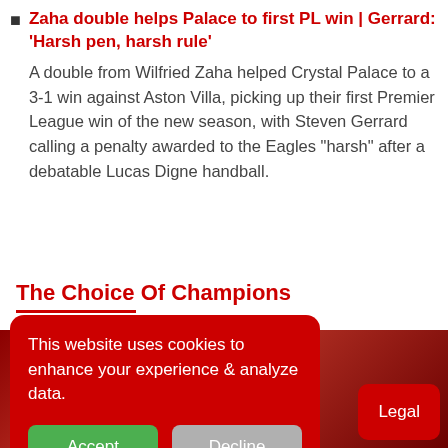Zaha double helps Palace to first PL win | Gerrard: 'Harsh pen, harsh rule' — A double from Wilfried Zaha helped Crystal Palace to a 3-1 win against Aston Villa, picking up their first Premier League win of the new season, with Steven Gerrard calling a penalty awarded to the Eagles "harsh" after a debatable Lucas Digne handball.
The Choice Of Champions
[Figure (photo): Photo of football players in red kit, partially obscured by cookie consent banner]
This website uses cookies to enhance your experience & analyze data.
Accept | Decline
Legal